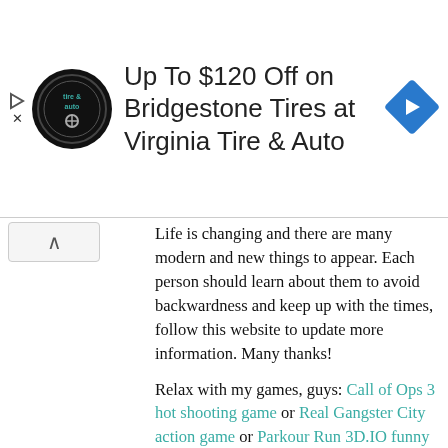[Figure (infographic): Advertisement banner for Virginia Tire & Auto offering up to $120 off on Bridgestone Tires, with logo, title text, and a blue navigation arrow icon.]
Life is changing and there are many modern and new things to appear. Each person should learn about them to avoid backwardness and keep up with the times, follow this website to update more information. Many thanks!
Relax with my games, guys: Call of Ops 3 hot shooting game or Real Gangster City action game or Parkour Run 3D.IO funny game
Play more games here: Miniclip games | Basketball games | Friv4school games online
Visit my web site: Abcya game for fun | Zoxy blog spot adventure game | Zoxy action blog